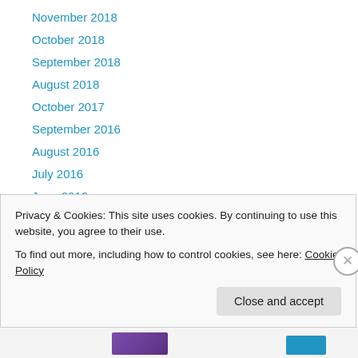November 2018
October 2018
September 2018
August 2018
October 2017
September 2016
August 2016
July 2016
June 2016
May 2016
April 2016
March 2016
February 2016
Privacy & Cookies: This site uses cookies. By continuing to use this website, you agree to their use. To find out more, including how to control cookies, see here: Cookie Policy
Close and accept